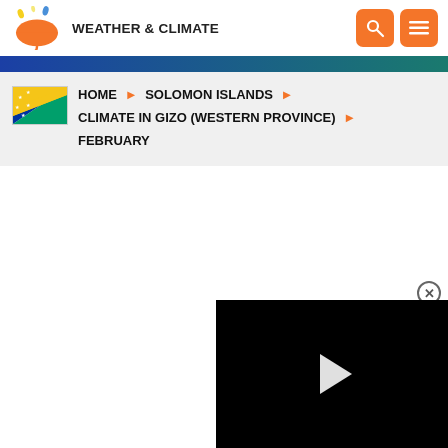WEATHER & CLIMATE
HOME ▶ SOLOMON ISLANDS ▶ CLIMATE IN GIZO (WESTERN PROVINCE) ▶ FEBRUARY
[Figure (screenshot): Video player with black background and white play button triangle, with close (X) button overlay]